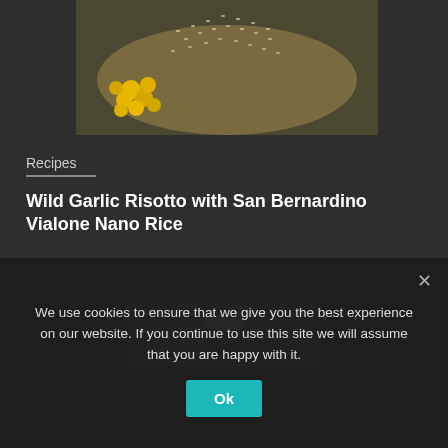[Figure (photo): Close-up photo of a risotto dish with yellow vegetables (possibly cauliflower florets) and rice grains in a pan]
Recipes
Wild Garlic Risotto with San Bernardino Vialone Nano Rice
APRIL 28, 2021
[Figure (photo): Person wearing a white hat in a field]
We use cookies to ensure that we give you the best experience on our website. If you continue to use this site we will assume that you are happy with it.